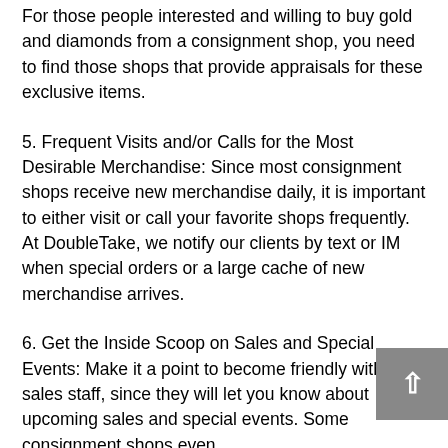For those people interested and willing to buy gold and diamonds from a consignment shop, you need to find those shops that provide appraisals for these exclusive items.
5. Frequent Visits and/or Calls for the Most Desirable Merchandise: Since most consignment shops receive new merchandise daily, it is important to either visit or call your favorite shops frequently. At DoubleTake, we notify our clients by text or IM when special orders or a large cache of new merchandise arrives.
6. Get the Inside Scoop on Sales and Special Events: Make it a point to become friendly with sales staff, since they will let you know about upcoming sales and special events. Some consignment shops even